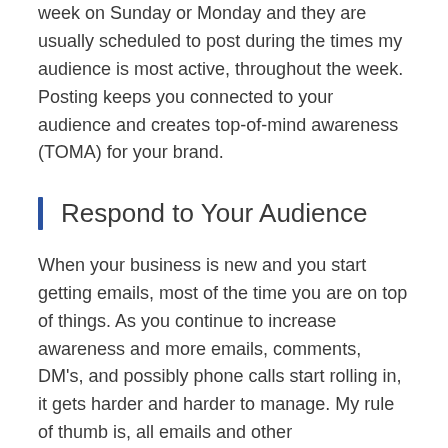week on Sunday or Monday and they are usually scheduled to post during the times my audience is most active, throughout the week. Posting keeps you connected to your audience and creates top-of-mind awareness (TOMA) for your brand.
Respond to Your Audience
When your business is new and you start getting emails, most of the time you are on top of things. As you continue to increase awareness and more emails, comments, DM's, and possibly phone calls start rolling in, it gets harder and harder to manage. My rule of thumb is, all emails and other